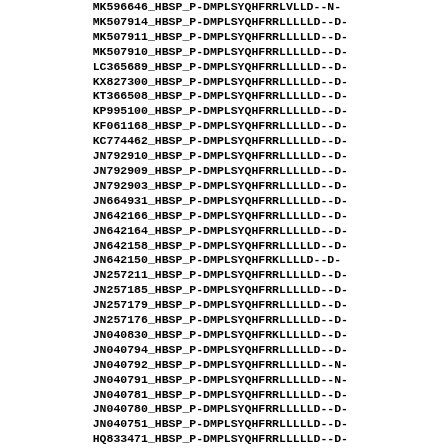| ID | Sequence |
| --- | --- |
| MK596646_HBSP_P-D | MPLSYQHFRRLVLLD--N- |
| MK507914_HBSP_P-D | MPLSYQHFRRLLLLLD--D- |
| MK507911_HBSP_P-D | MPLSYQHFRRLLLLLD--D- |
| MK507910_HBSP_P-D | MPLSYQHFRRLLLLLD--D- |
| LC365689_HBSP_P-D | MPLSYQHFRRLLLLLD--D- |
| KX827300_HBSP_P-D | MPLSYQHFRRLLLLLD--D- |
| KT366508_HBSP_P-D | MPLSYQHFRRLLLLLD--D- |
| KP995100_HBSP_P-D | MPLSYQHFRRLLLLLD--D- |
| KF061168_HBSP_P-D | MPLSYQHFRRLLLLLD--D- |
| KC774462_HBSP_P-D | MPLSYQHFRRLLLLLD--D- |
| JN792910_HBSP_P-D | MPLSYQHFRRLLLLLD--D- |
| JN792909_HBSP_P-D | MPLSYQHFRRLLLLLD--D- |
| JN792903_HBSP_P-D | MPLSYQHFRRLLLLLD--D- |
| JN664931_HBSP_P-D | MPLSYQHFRRLLLLLD--D- |
| JN642166_HBSP_P-D | MPLSYQHFRRLLLLLD--D- |
| JN642164_HBSP_P-D | MPLSYQHFRRLLLLLD--D- |
| JN642158_HBSP_P-D | MPLSYQHFRRLLLLLD--D- |
| JN642150_HBSP_P-D | MPLSYQHFRKLLLLD--D- |
| JN257211_HBSP_P-D | MPLSYQHFRRLLLLLD--D- |
| JN257185_HBSP_P-D | MPLSYQHFRRLLLLLD--D- |
| JN257179_HBSP_P-D | MPLSYQHFRRLLLLLD--D- |
| JN257176_HBSP_P-D | MPLSYQHFRRLLLLLD--D- |
| JN040830_HBSP_P-D | MPLSYQHFRKLLLLLD--D- |
| JN040794_HBSP_P-D | MPLSYQHFRRLLLLLD--D- |
| JN040792_HBSP_P-D | MPLSYQHFRRLLLLLD--N- |
| JN040791_HBSP_P-D | MPLSYQHFRRLLLLLD--N- |
| JN040781_HBSP_P-D | MPLSYQHFRRLLLLLD--D- |
| JN040780_HBSP_P-D | MPLSYQHFRRLLLLLD--D- |
| JN040751_HBSP_P-D | MPLSYQHFRRLLLLLD--D- |
| HQ833471_HBSP_P-D | MPLSYQHFRRLLLLLD--D- |